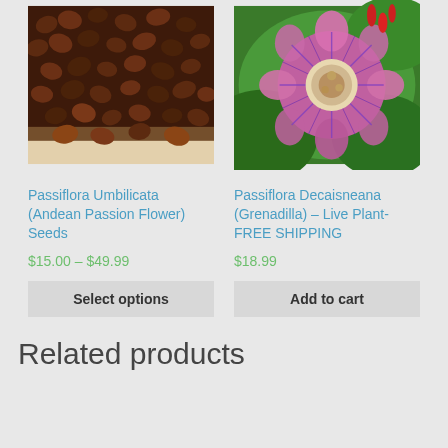[Figure (photo): Close-up photo of dark brown Passiflora seeds piled on a light beige surface]
[Figure (photo): Photo of a Passiflora Decaisneana (Grenadilla) flower with pink-purple filaments and green leaves in background]
Passiflora Umbilicata (Andean Passion Flower) Seeds
Passiflora Decaisneana (Grenadilla) – Live Plant- FREE SHIPPING
$15.00 – $49.99
$18.99
Select options
Add to cart
Related products